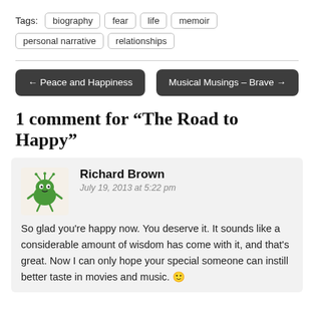Tags: biography  fear  life  memoir  personal narrative  relationships
← Peace and Happiness
Musical Musings – Brave →
1 comment for “The Road to Happy”
Richard Brown
July 19, 2013 at 5:22 pm
So glad you're happy now. You deserve it. It sounds like a considerable amount of wisdom has come with it, and that's great. Now I can only hope your special someone can instill better taste in movies and music. 🙂